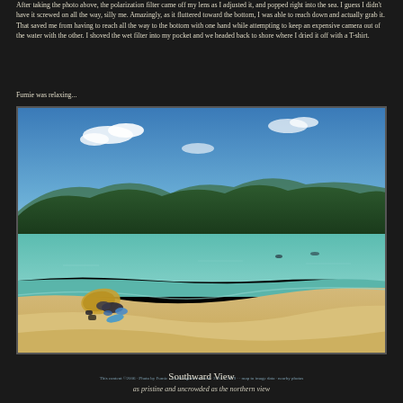After taking the photo above, the polarization filter came off my lens as I adjusted it, and popped right into the sea. I guess I didn't have it screwed on all the way, silly me. Amazingly, as it fluttered toward the bottom, I was able to reach down and actually grab it. That saved me from having to reach all the way to the bottom with one hand while attempting to keep an expensive camera out of the water with the other. I shoved the wet filter into my pocket and we headed back to shore where I dried it off with a T-shirt.
Fumie was relaxing...
[Figure (photo): Southward view of a pristine tropical beach with golden sand, calm turquoise waters, lush green hills in the background, and a person lying under an umbrella in the foreground.]
Southward View
as pristine and uncrowded as the northern view